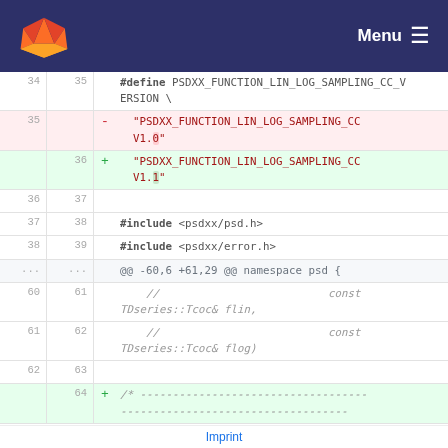GitLab — Menu
34  35  #define PSDXX_FUNCTION_LIN_LOG_SAMPLING_CC_VERSION \
35     -  "PSDXX_FUNCTION_LIN_LOG_SAMPLING_CC V1.0"
36  +  "PSDXX_FUNCTION_LIN_LOG_SAMPLING_CC V1.1"
36  37
37  38  #include <psdxx/psd.h>
38  39  #include <psdxx/error.h>
...  ...  @@ -60,6 +61,29 @@ namespace psd {
60  61      //                          const TDseries::Tcoc& flin,
61  62      //                          const TDseries::Tcoc& flog)
62  63
   64  +  /* ---...---
Imprint